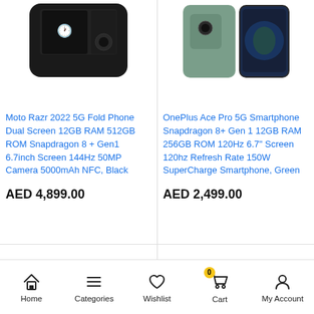[Figure (photo): Moto Razr 2022 5G fold phone product image, partially visible at top]
[Figure (photo): OnePlus Ace Pro 5G smartphone product image, partially visible at top, green color]
Moto Razr 2022 5G Fold Phone Dual Screen 12GB RAM 512GB ROM Snapdragon 8 + Gen1 6.7inch Screen 144Hz 50MP Camera 5000mAh NFC, Black
AED 4,899.00
OnePlus Ace Pro 5G Smartphone Snapdragon 8+ Gen 1 12GB RAM 256GB ROM 120Hz 6.7" Screen 120hz Refresh Rate 150W SuperCharge Smartphone, Green
AED 2,499.00
Home  Categories  Wishlist  Cart  My Account